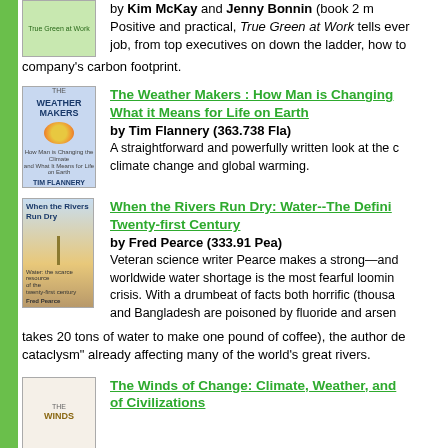by Kim McKay and Jenny Bonnin (book 2 title). Positive and practical, True Green at Work tells everyone with a job, from top executives on down the ladder, how to company's carbon footprint.
The Weather Makers : How Man is Changing the Climate and What it Means for Life on Earth
by Tim Flannery (363.738 Fla)
A straightforward and powerfully written look at the climate change and global warming.
When the Rivers Run Dry: Water--The Defining Crisis of the Twenty-first Century
by Fred Pearce (333.91 Pea)
Veteran science writer Pearce makes a strong—and worldwide water shortage is the most fearful looming crisis. With a drumbeat of facts both horrific (thousands and Bangladesh are poisoned by fluoride and arsenic, takes 20 tons of water to make one pound of coffee), the author describes the "cataclysm" already affecting many of the world's great rivers.
The Winds of Change: Climate, Weather, and the Destruction of Civilizations